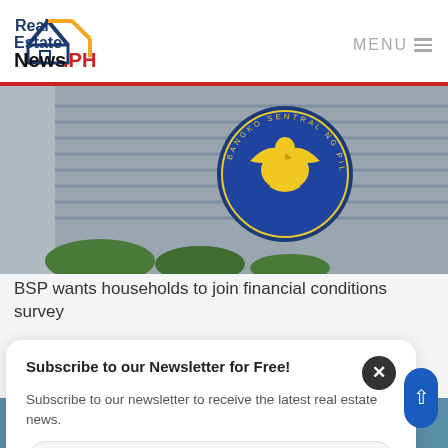[Figure (logo): Real Estate News.PH logo with house icon in navy and orange, text 'Real' in navy, 'Estate' in navy, 'News' in black, '.PH' in red]
MENU
[Figure (photo): Bangko Sentral ng Pilipinas (BSP) building with circular eagle seal/logo overlaid, showing a large office building with trees in foreground]
BSP wants households to join financial conditions survey
Subscribe to our Newsletter for Free!
Subscribe to our newsletter to receive the latest real estate news.
Put your email here
[Figure (photo): Bottom strip showing partial image, appears to be a person with a device/phone]